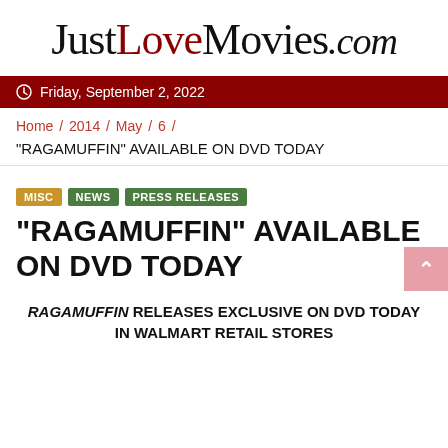JustLoveMovies.com
Friday, September 2, 2022
Home / 2014 / May / 6 /
“RAGAMUFFIN” AVAILABLE ON DVD TODAY
MISC NEWS PRESS RELEASES
“RAGAMUFFIN” AVAILABLE ON DVD TODAY
RAGAMUFFIN RELEASES EXCLUSIVE ON DVD TODAY IN WALMART RETAIL STORES